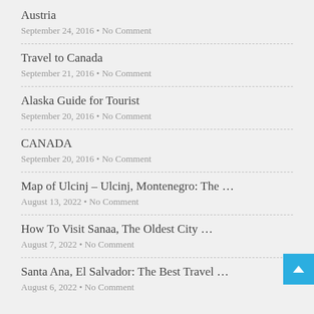Austria
September 24, 2016 • No Comment
Travel to Canada
September 21, 2016 • No Comment
Alaska Guide for Tourist
September 20, 2016 • No Comment
CANADA
September 20, 2016 • No Comment
Map of Ulcinj – Ulcinj, Montenegro: The …
August 13, 2022 • No Comment
How To Visit Sanaa, The Oldest City …
August 7, 2022 • No Comment
Santa Ana, El Salvador: The Best Travel …
August 6, 2022 • No Comment